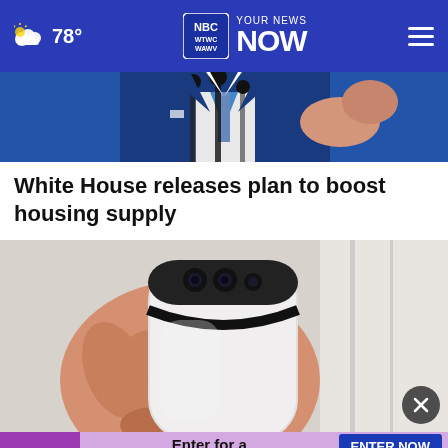78° | WTWC WAWV NBC2 YOUR NEWS NOW
[Figure (photo): Partial photo of a person in a blue suit at a podium with microphones, hands raised]
White House releases plan to boost housing supply
[Figure (photo): Close-up photo of a hand holding a white security/camera device]
[Figure (other): Lottery advertisement banner: Enter for a chance to win Scratch-offs. ENTER NOW button.]